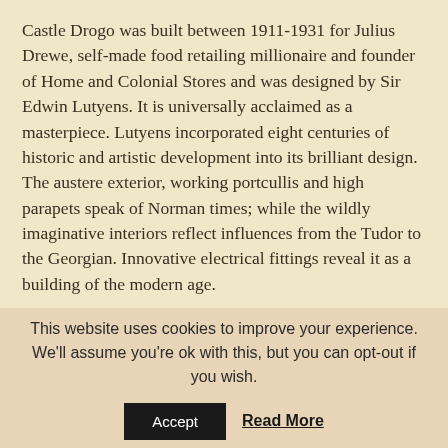Castle Drogo was built between 1911-1931 for Julius Drewe, self-made food retailing millionaire and founder of Home and Colonial Stores and was designed by Sir Edwin Lutyens. It is universally acclaimed as a masterpiece. Lutyens incorporated eight centuries of historic and artistic development into its brilliant design. The austere exterior, working portcullis and high parapets speak of Norman times; while the wildly imaginative interiors reflect influences from the Tudor to the Georgian. Innovative electrical fittings reveal it as a building of the modern age.
Castle Drogo is being destroyed by water penetration. High on Dartmoor, it is exposed to strong and almost constant wind and rain, while flaws in the original construction mean that significant amounts of water penetrate the roof, windows and pointing. Castle
This website uses cookies to improve your experience. We'll assume you're ok with this, but you can opt-out if you wish.
Accept  Read More